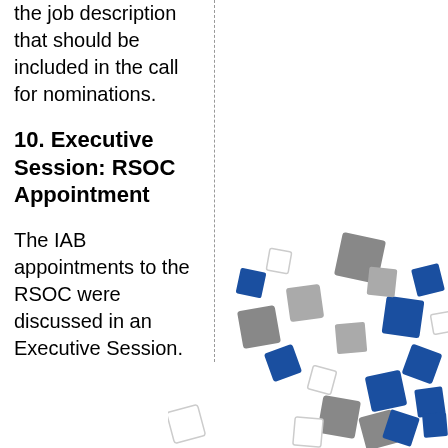the job description that should be included in the call for nominations.
10. Executive Session: RSOC Appointment
The IAB appointments to the RSOC were discussed in an Executive Session.
[Figure (illustration): Decorative scattered 3D cubes in blue, gray, and white colors arranged in the lower right area of the page.]